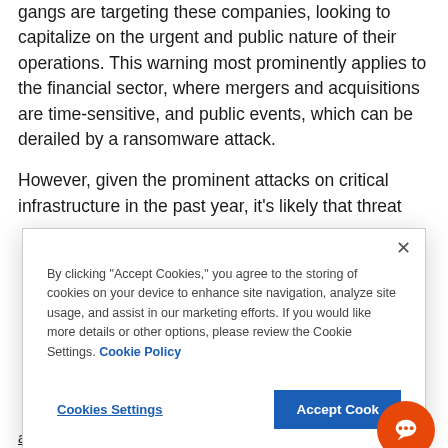gangs are targeting these companies, looking to capitalize on the urgent and public nature of their operations. This warning most prominently applies to the financial sector, where mergers and acquisitions are time-sensitive, and public events, which can be derailed by a ransomware attack.
However, given the prominent attacks on critical infrastructure in the past year, it's likely that threat
[Figure (screenshot): Cookie consent modal dialog with close button (×), body text explaining cookie usage, a Cookie Policy link, Cookies Settings button, and Accept Cookies button. An orange chat bubble icon overlaps the bottom-right corner.]
and entities should turn to a simple to deploy Zero Trust and zero-party data solution...